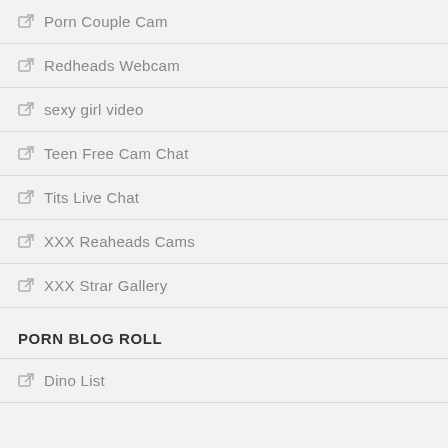Porn Couple Cam
Redheads Webcam
sexy girl video
Teen Free Cam Chat
Tits Live Chat
XXX Reaheads Cams
XXX Strar Gallery
PORN BLOG ROLL
Dino List